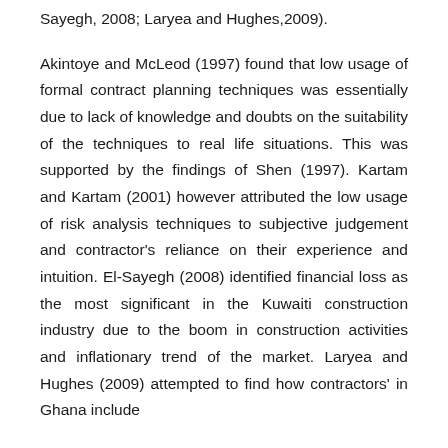Sayegh, 2008; Laryea and Hughes,2009).
Akintoye and McLeod (1997) found that low usage of formal contract planning techniques was essentially due to lack of knowledge and doubts on the suitability of the techniques to real life situations. This was supported by the findings of Shen (1997). Kartam and Kartam (2001) however attributed the low usage of risk analysis techniques to subjective judgement and contractor's reliance on their experience and intuition. El-Sayegh (2008) identified financial loss as the most significant in the Kuwaiti construction industry due to the boom in construction activities and inflationary trend of the market. Laryea and Hughes (2009) attempted to find how contractors' in Ghana include